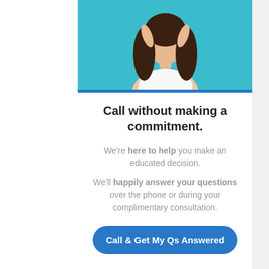[Figure (photo): Website background showing a medical/cosmetic clinic navigation page with gold/brown sidebar items including Las-, Tre-, Boo-, Rec-, Ski-, Ski- (partial menu items visible). A modal dialog overlays the page.]
[Figure (photo): Modal dialog top image: Woman with long dark hair posing against a teal/cyan background, touching her hair. A blue horizontal stripe separates the image from the modal content.]
Call without making a commitment.
We're here to help you make an educated decision.
We'll happily answer your questions over the phone or during your complimentary consultation.
Call & Get My Qs Answered